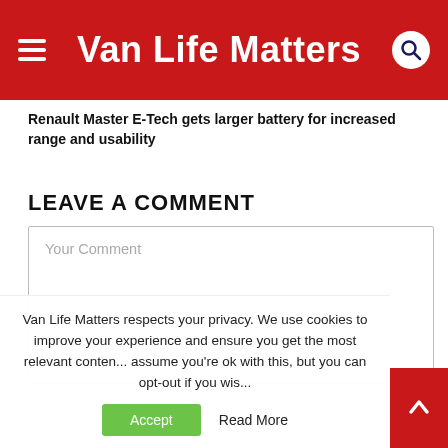Van Life Matters
Renault Master E-Tech gets larger battery for increased range and usability
LEAVE A COMMENT
Your Comment
Van Life Matters respects your privacy. We use cookies to improve your experience and ensure you get the most relevant content. We assume you're ok with this, but you can opt-out if you wish.